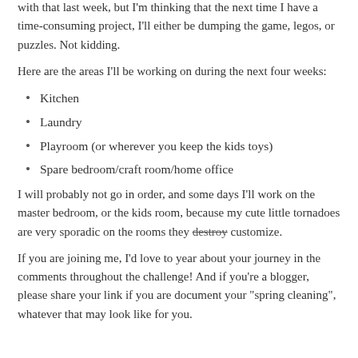with that last week, but I'm thinking that the next time I have a time-consuming project, I'll either be dumping the game, legos, or puzzles. Not kidding.
Here are the areas I'll be working on during the next four weeks:
Kitchen
Laundry
Playroom (or wherever you keep the kids toys)
Spare bedroom/craft room/home office
I will probably not go in order, and some days I'll work on the master bedroom, or the kids room, because my cute little tornadoes are very sporadic on the rooms they destroy customize.
If you are joining me, I'd love to year about your journey in the comments throughout the challenge! And if you're a blogger, please share your link if you are document your "spring cleaning", whatever that may look like for you.